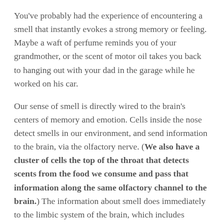You've probably had the experience of encountering a smell that instantly evokes a strong memory or feeling. Maybe a waft of perfume reminds you of your grandmother, or the scent of motor oil takes you back to hanging out with your dad in the garage while he worked on his car.
Our sense of smell is directly wired to the brain's centers of memory and emotion. Cells inside the nose detect smells in our environment, and send information to the brain, via the olfactory nerve. (We also have a cluster of cells the top of the throat that detects scents from the food we consume and pass that information along the same olfactory channel to the brain.) The information about smell does immediately to the limbic system of the brain, which includes regions like the amygdala that control emotional reactions and memory.